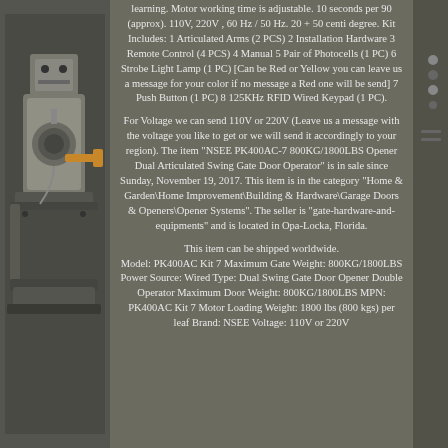learning. Motor working time is adjustable. 10 seconds per 90 (approx). 110V, 220V , 60 Hz / 50 Hz. 20 + 50 centi degree. Kit Includes: 1 Articulated Arms (2 PCS) 2 Installation Hardware 3 Remote Control (4 PCS) 4 Manual 5 Pair of Photocells (1 PC) 6 Strobe Light Lamp (1 PC) [Can be Red or Yellow you can leave us a message for your color if no message a Red one will be send] 7 Push Button (1 PC) 8 125KHz RFID Wired Keypad (1 PC).
For Voltage we can send 110V or 220V (Leave us a message with the voltage you like to get or we will send it accordingly to your region). The item "NSEE PK400AC-7 800KG/1800LBS Opener Dual Articulated Swing Gate Door Operator" is in sale since Sunday, November 19, 2017. This item is in the category "Home & Garden\Home Improvement\Building & Hardware\Garage Doors & Openers\Opener Systems". The seller is "gate-hardware-and-equipments" and is located in Opa-Locka, Florida.
This item can be shipped worldwide. Model: PK400AC Kit 7 Maximum Gate Weight: 800KG/1800LBS Power Source: Wired Type: Dual Swing Gate Door Opener Double Operator Maximum Door Weight: 800KG/1800LBS MPN: PK400AC Kit 7 Motor Loading Weight: 1800 lbs (800 kgs) per leaf Brand: NSEE Voltage: 110V or 220V
[Figure (photo): Left side shows a gate opener machine/motor unit mounted on a bracket, gray metal housing with mechanical components visible. Right side shows small connector or hardware details.]